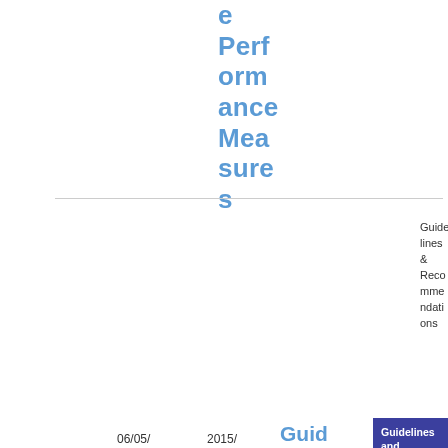e Performance Measures
| Date | Reference | Title | Category | Type | Document | Size |
| --- | --- | --- | --- | --- | --- | --- |
| 06/05/2015 | 2015/675 | Guidelines on the application of the definitions in Sections C6 | Guidelines and Technical standards / MiFID - Secondary Markets | Guidelines & Recommendations | PDF | 330.93 KB |